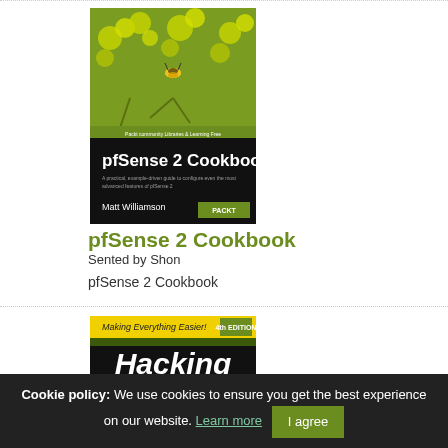[Figure (photo): Book cover of pfSense 2 Cookbook by Matt Williamson, showing a yellow-green flower with a bee on it, Packt Publishing edition]
pfSense 2 Cookbook
Sented by Shon
pfSense 2 Cookbook
[Figure (photo): Book cover of Hacking for Dummies, with yellow and black Dummies series design, showing bold white italic text 'Hacking' and 'DUMMIES']
Cookie policy: We use cookies to ensure you get the best experience on our website. Learn more  I agree